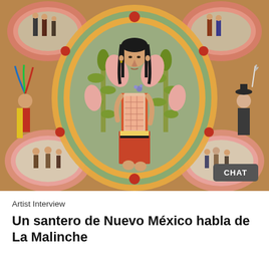[Figure (illustration): Folk art painting of La Malinche, a central female figure in traditional Aztec dress standing within an oval frame decorated with gold and green scalloped border. She holds an object to her chest. Surrounding the central oval are four smaller pink oval medallions in the corners depicting groups of figures. On the left side stands a Native American figure in colorful dress, on the right a Spanish colonial figure. The background is warm ochre/brown. Bottom right has a dark 'CHAT' button overlay.]
Artist Interview
Un santero de Nuevo México habla de La Malinche